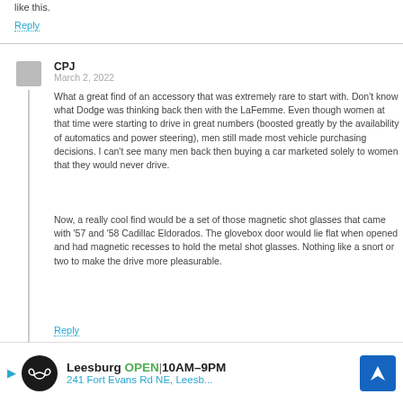like this.
Reply
CPJ
March 2, 2022
What a great find of an accessory that was extremely rare to start with. Don't know what Dodge was thinking back then with the LaFemme. Even though women at that time were starting to drive in great numbers (boosted greatly by the availability of automatics and power steering), men still made most vehicle purchasing decisions. I can't see many men back then buying a car marketed solely to women that they would never drive.
Now, a really cool find would be a set of those magnetic shot glasses that came with '57 and '58 Cadillac Eldorados. The glovebox door would lie flat when opened and had magnetic recesses to hold the metal shot glasses. Nothing like a snort or two to make the drive more pleasurable.
Reply
Bryn
March 15, 2022
I never comment here but...
[Figure (infographic): Advertisement banner for Leesburg business: logo (infinity symbol on black circle), text 'Leesburg OPEN 10AM-9PM 241 Fort Evans Rd NE, Leesb...', blue navigation arrow icon]